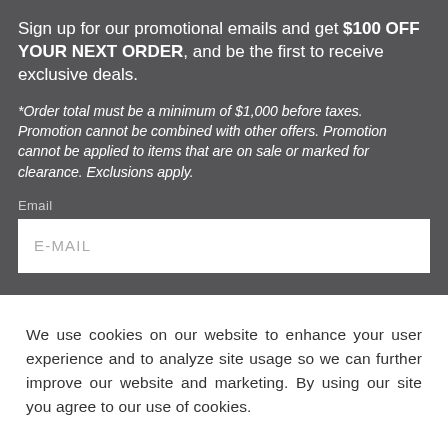Sign up for our promotional emails and get $100 OFF YOUR NEXT ORDER, and be the first to receive exclusive deals.
*Order total must be a minimum of $1,000 before taxes. Promotion cannot be combined with other offers. Promotion cannot be applied to items that are on sale or marked for clearance. Exclusions apply.
Email
E-MAIL
We use cookies on our website to enhance your user experience and to analyze site usage so we can further improve our website and marketing. By using our site you agree to our use of cookies.
OK